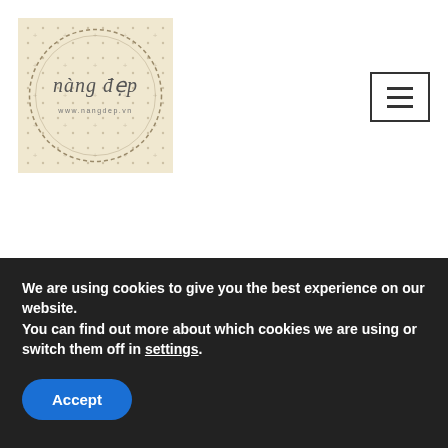[Figure (logo): Nàng đẹp logo — circular design with cursive text 'nàng đẹp' and 'www.nangdep.vn' on a beige/cream dotted background]
[Figure (other): Hamburger menu button — three horizontal lines inside a square border]
Home » [NEW] Häagen-Dazs HK 🍦 | haagen dazs – Nangdep.vn
[NEW] Häagen-Dazs HK
We are using cookies to give you the best experience on our website.
You can find out more about which cookies we are using or switch them off in settings.
Accept